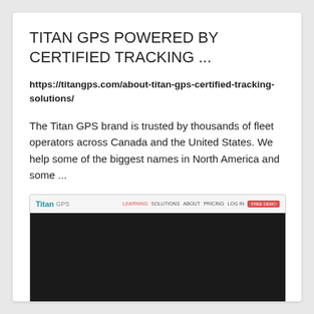TITAN GPS POWERED BY CERTIFIED TRACKING ...
https://titangps.com/about-titan-gps-certified-tracking-solutions/
The Titan GPS brand is trusted by thousands of fleet operators across Canada and the United States. We help some of the biggest names in North America and some ...
[Figure (screenshot): Screenshot of the Titan GPS website showing a navigation bar with the Titan GPS logo, navigation links, and a red button, above a large dark/black content area.]